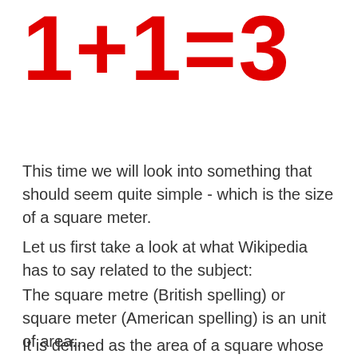1+1=3
This time we will look into something that should seem quite simple - which is the size of a square meter.
Let us first take a look at what Wikipedia has to say related to the subject:
The square metre (British spelling) or square meter (American spelling) is an unit of area...
It is defined as the area of a square whose sides measure exactly one metre.
For those who are particularly interested in the subject it is